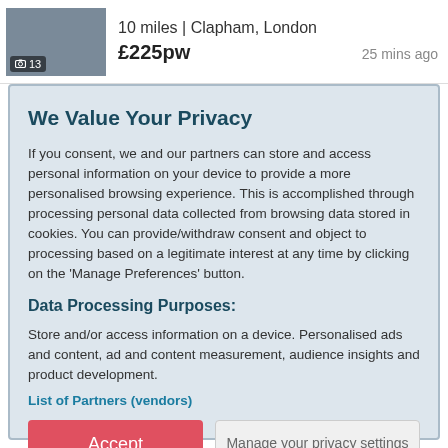10 miles | Clapham, London
£225pw  25 mins ago
We Value Your Privacy
If you consent, we and our partners can store and access personal information on your device to provide a more personalised browsing experience. This is accomplished through processing personal data collected from browsing data stored in cookies. You can provide/withdraw consent and object to processing based on a legitimate interest at any time by clicking on the 'Manage Preferences' button.
Data Processing Purposes:
Store and/or access information on a device. Personalised ads and content, ad and content measurement, audience insights and product development.
List of Partners (vendors)
Accept
Manage your privacy settings